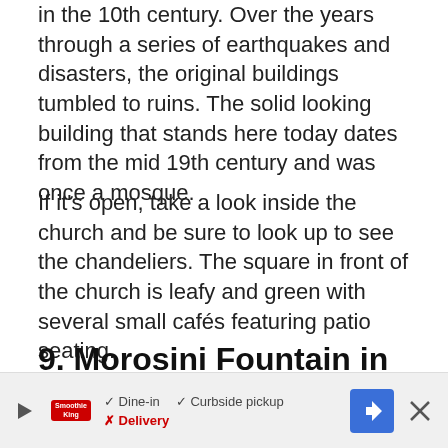in the 10th century. Over the years through a series of earthquakes and disasters, the original buildings tumbled to ruins. The solid looking building that stands here today dates from the mid 19th century and was once a mosque.
If it's open, take a look inside the church and be sure to look up to see the chandeliers. The square in front of the church is leafy and green with several small cafés featuring patio seating.
9. Morosini Fountain in Lion Square
[Figure (photo): Partial view of a photo showing outdoor scenery, appears to be a town square or street scene with greenery and buildings.]
Dine-in  Curbside pickup  Delivery